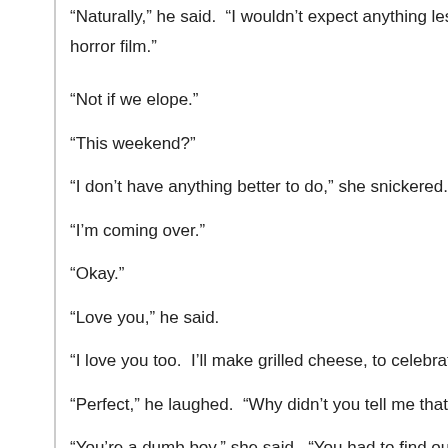“Naturally,” he said.  “I wouldn’t expect anything less.  Yo… horror film.”
“Not if we elope.”
“This weekend?”
“I don’t have anything better to do,” she snickered.
“I’m coming over.”
“Okay.”
“Love you,” he said.
“I love you too.  I’ll make grilled cheese, to celebrate.”
“Perfect,” he laughed.  “Why didn’t you tell me that this w…
“You’re a dumb boy,” she said.  “You had to find out for y…